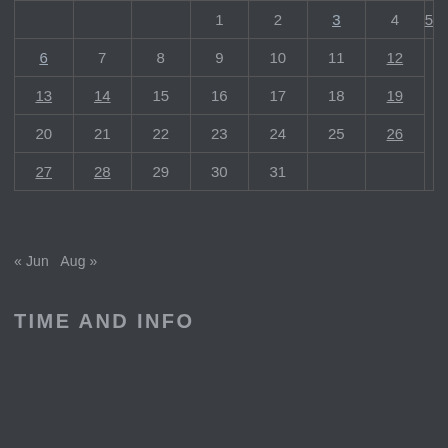|  |  |  |  |  |  |  |
| --- | --- | --- | --- | --- | --- | --- |
|  |  |  | 1 | 2 | 3 | 4 | 5 |
| 6 | 7 | 8 | 9 | 10 | 11 | 12 |
| 13 | 14 | 15 | 16 | 17 | 18 | 19 |
| 20 | 21 | 22 | 23 | 24 | 25 | 26 |
| 27 | 28 | 29 | 30 | 31 |  |  |
« Jun   Aug »
TIME AND INFO